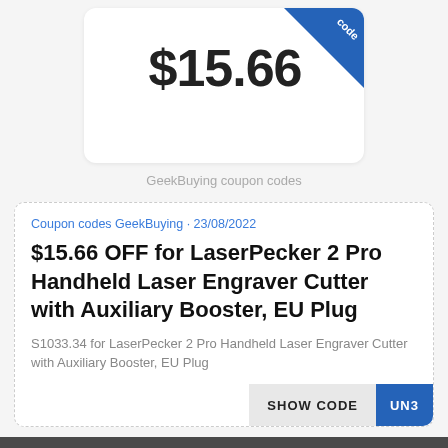[Figure (other): Price card showing $15.66 with a blue ribbon/corner tag showing 'code', on a white rounded card]
GeekBuying coupon codes
Coupon codes GeekBuying • 23/08/2022
$15.66 OFF for LaserPecker 2 Pro Handheld Laser Engraver Cutter with Auxiliary Booster, EU Plug
S1033.34 for LaserPecker 2 Pro Handheld Laser Engraver Cutter with Auxiliary Booster, EU Plug
SHOW CODE UN3
We use cookies to ensure that we give the best user experience. If you continue to use this site, we'll assume you agree to our Privacy Policy